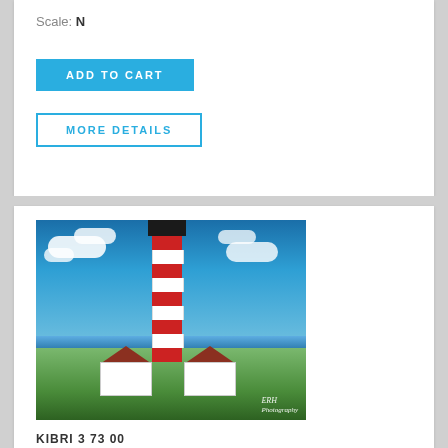Scale: N
ADD TO CART
MORE DETAILS
[Figure (photo): Photograph of a red and white striped lighthouse (Westerheversand) with two annexe buildings, blue sky with clouds, green grass and sea in background. Watermark: ERH.]
KIBRI 3 73 00
N Lighthouse Westerheversand with 2 annex
Scale: N